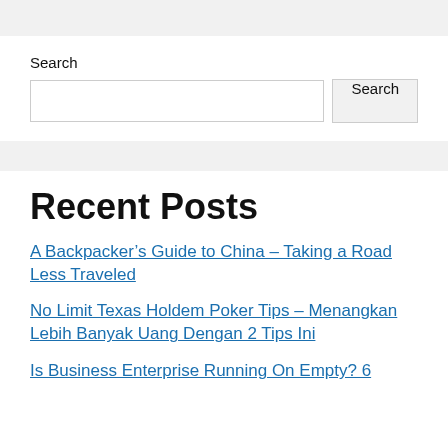Search
Search [input field] [Search button]
Recent Posts
A Backpacker’s Guide to China – Taking a Road Less Traveled
No Limit Texas Holdem Poker Tips – Menangkan Lebih Banyak Uang Dengan 2 Tips Ini
Is Business Enterprise Running On Empty? 6